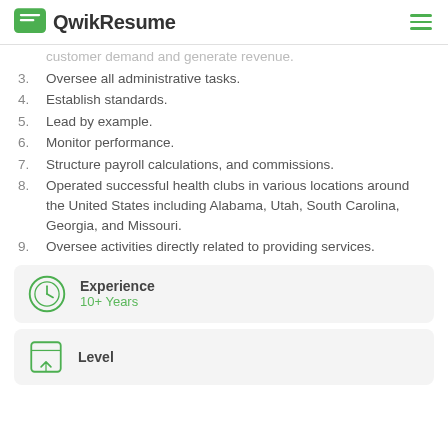QwikResume
customer demand and generate revenue.
3. Oversee all administrative tasks.
4. Establish standards.
5. Lead by example.
6. Monitor performance.
7. Structure payroll calculations, and commissions.
8. Operated successful health clubs in various locations around the United States including Alabama, Utah, South Carolina, Georgia, and Missouri.
9. Oversee activities directly related to providing services.
Experience
10+ Years
Level